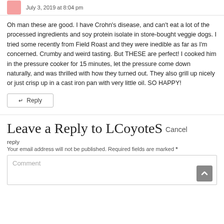July 3, 2019 at 8:04 pm
Oh man these are good. I have Crohn's disease, and can't eat a lot of the processed ingredients and soy protein isolate in store-bought veggie dogs. I tried some recently from Field Roast and they were inedible as far as I'm concerned. Crumby and weird tasting. But THESE are perfect! I cooked him in the pressure cooker for 15 minutes, let the pressure come down naturally, and was thrilled with how they turned out. They also grill up nicely or just crisp up in a cast iron pan with very little oil. SO HAPPY!
↵  Reply
Leave a Reply to LCoyoteS Cancel
reply
Your email address will not be published. Required fields are marked *
Comment